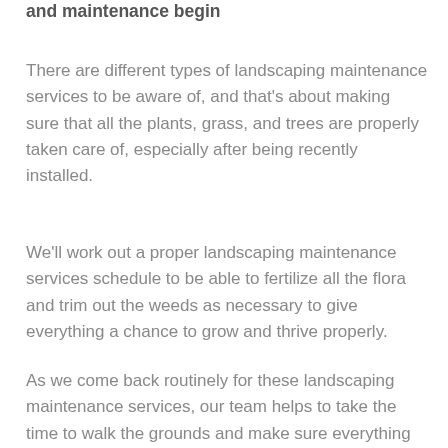and maintenance begin
There are different types of landscaping maintenance services to be aware of, and that's about making sure that all the plants, grass, and trees are properly taken care of, especially after being recently installed.
We'll work out a proper landscaping maintenance services schedule to be able to fertilize all the flora and trim out the weeds as necessary to give everything a chance to grow and thrive properly.
As we come back routinely for these landscaping maintenance services, our team helps to take the time to walk the grounds and make sure everything also is working correctly.